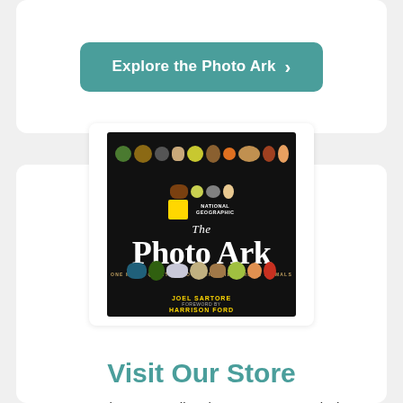[Figure (other): Teal rounded button labeled 'Explore the Photo Ark' with a right-pointing chevron arrow, on a white card]
[Figure (photo): Cover of 'The Photo Ark' book by Joel Sartore with foreword by Harrison Ford, published by National Geographic. Black background with many animal species arranged around the title.]
Visit Our Store
Every purchase goes directly to support our mission: getting the public to care and helping to